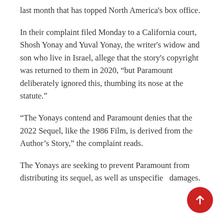last month that has topped North America's box office.
In their complaint filed Monday to a California court, Shosh Yonay and Yuval Yonay, the writer's widow and son who live in Israel, allege that the story's copyright was returned to them in 2020, “but Paramount deliberately ignored this, thumbing its nose at the statute.”
“The Yonays contend and Paramount denies that the 2022 Sequel, like the 1986 Film, is derived from the Author’s Story,” the complaint reads.
The Yonays are seeking to prevent Paramount from distributing its sequel, as well as unspecified damages.